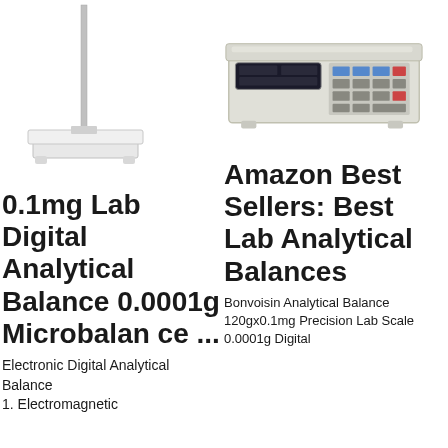[Figure (photo): Lab analytical balance with tall vertical post and flat white weighing platform]
[Figure (photo): Digital counting scale/price computing scale with display panel and buttons]
0.1mg Lab Digital Analytical Balance 0.0001g Microbalance ...
Amazon Best Sellers: Best Lab Analytical Balances
Electronic Digital Analytical Balance
1. Electromagnetic
Bonvoisin Analytical Balance 120gx0.1mg Precision Lab Scale 0.0001g Digital